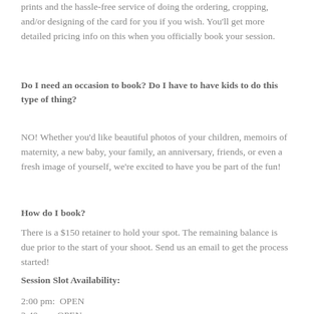prints and the hassle-free service of doing the ordering, cropping, and/or designing of the card for you if you wish. You'll get more detailed pricing info on this when you officially book your session.
Do I need an occasion to book? Do I have to have kids to do this type of thing?
NO! Whether you'd like beautiful photos of your children, memoirs of maternity, a new baby, your family, an anniversary, friends, or even a fresh image of yourself, we're excited to have you be part of the fun!
How do I book?
There is a $150 retainer to hold your spot. The remaining balance is due prior to the start of your shoot. Send us an email to get the process started!
Session Slot Availability:
2:00 pm:  OPEN
2:40 pm: OPEN